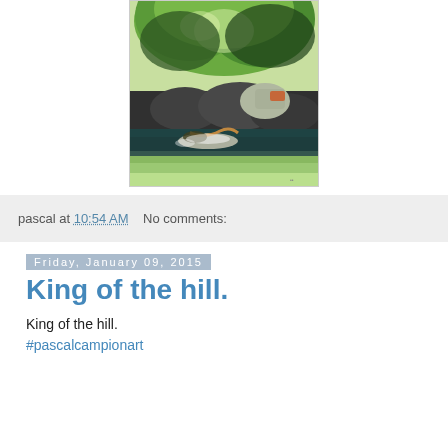[Figure (photo): Outdoor nature photo showing a river or water scene with green trees above, rocks in the middle, and a person swimming or splashing at the water surface. The image has a painterly, artistic quality with vivid greens and dark shadows.]
pascal at 10:54 AM    No comments:
Friday, January 09, 2015
King of the hill.
King of the hill.
#pascalcampionart